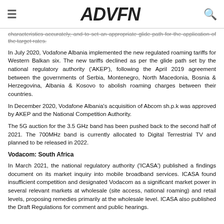ADVFN
characteristics accurately, and to set an appropriate glide path for the application of the target rates.
In July 2020, Vodafone Albania implemented the new regulated roaming tariffs for Western Balkan six. The new tariffs declined as per the glide path set by the national regulatory authority ('AKEP'), following the April 2019 agreement between the governments of Serbia, Montenegro, North Macedonia, Bosnia & Herzegovina, Albania & Kosovo to abolish roaming charges between their countries.
In December 2020, Vodafone Albania's acquisition of Abcom sh.p.k was approved by AKEP and the National Competition Authority.
The 5G auction for the 3.5 GHz band has been pushed back to the second half of 2021. The 700MHz band is currently allocated to Digital Terrestrial TV and planned to be released in 2022.
Vodacom: South Africa
In March 2021, the national regulatory authority ('ICASA') published a findings document on its market inquiry into mobile broadband services. ICASA found insufficient competition and designated Vodacom as a significant market power in several relevant markets at wholesale (site access, national roaming) and retail levels, proposing remedies primarily at the wholesale level. ICASA also published the Draft Regulations for comment and public hearings.